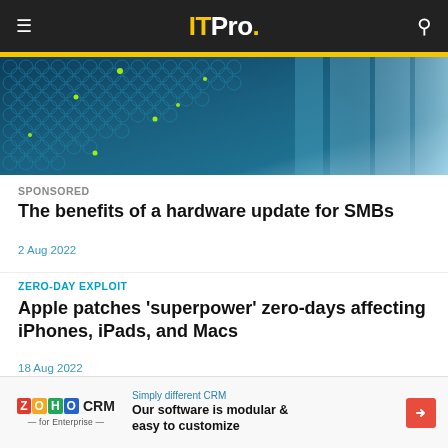ITPro.
[Figure (photo): Close-up of a server rack or network hardware with blue-toned honeycomb/mesh texture and scattered green dots of light, with blurred vertical elements on the right.]
SPONSORED
The benefits of a hardware update for SMBs
2 Aug 2022
ZERO-DAY EXPLOIT
Apple patches 'superpower' zero-days affecting iPhones, iPads, and Macs
18 Aug 2022
[Figure (other): Zoho CRM advertisement banner. Zoho CRM for Enterprise logo on left. Text: Simply different CRM. Our software is modular & easy to customize. Red arrow button on right.]